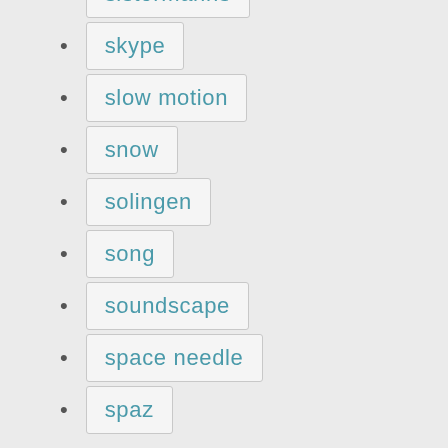sistermanns
skype
slow motion
snow
solingen
song
soundscape
space needle
spaz